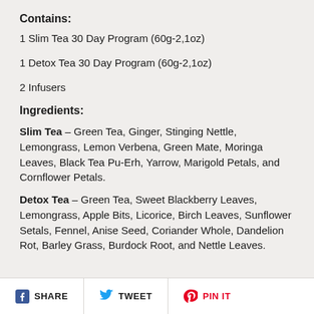Contains:
1 Slim Tea 30 Day Program (60g-2,1oz)
1 Detox Tea 30 Day Program (60g-2,1oz)
2 Infusers
Ingredients:
Slim Tea – Green Tea, Ginger, Stinging Nettle, Lemongrass, Lemon Verbena, Green Mate, Moringa Leaves, Black Tea Pu-Erh, Yarrow, Marigold Petals, and Cornflower Petals.
Detox Tea – Green Tea, Sweet Blackberry Leaves, Lemongrass, Apple Bits, Licorice, Birch Leaves, Sunflower Setals, Fennel, Anise Seed, Coriander Whole, Dandelion Rot, Barley Grass, Burdock Root, and Nettle Leaves.
[Figure (other): Social sharing buttons: Facebook SHARE, Twitter TWEET, Pinterest PIN IT]